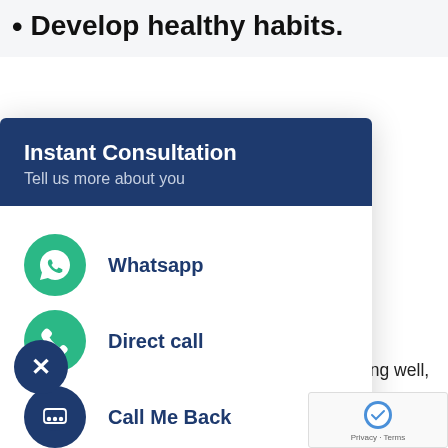Develop healthy habits.
[Figure (screenshot): Instant Consultation modal popup with WhatsApp, Direct call, and Call Me Back contact options over a website background]
...now to cope rkers, r work life ejection – ep or ntly. These e difficult to anner, so r is to estyle. The ources you ations. A
healthy lifestyle includes eating well, exercising often, and staying hydrated, all of